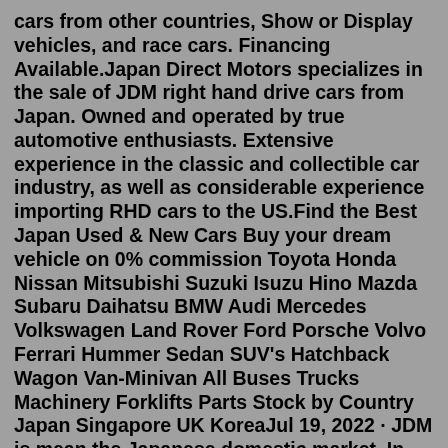cars from other countries, Show or Display vehicles, and race cars. Financing Available.Japan Direct Motors specializes in the sale of JDM right hand drive cars from Japan. Owned and operated by true automotive enthusiasts. Extensive experience in the classic and collectible car industry, as well as considerable experience importing RHD cars to the US.Find the Best Japan Used & New Cars Buy your dream vehicle on 0% commission Toyota Honda Nissan Mitsubishi Suzuki Isuzu Hino Mazda Subaru Daihatsu BMW Audi Mercedes Volkswagen Land Rover Ford Porsche Volvo Ferrari Hummer Sedan SUV's Hatchback Wagon Van-Minivan All Buses Trucks Machinery Forklifts Parts Stock by Country Japan Singapore UK KoreaJul 19, 2022 · JDM is mean the Japanese domestic market. In particular, it is used for automobile bodies designed for Japan or whose specifications have been changed when exported to Japan, and for automobile-related products distributed in Japan. It is a general term for Japanese...